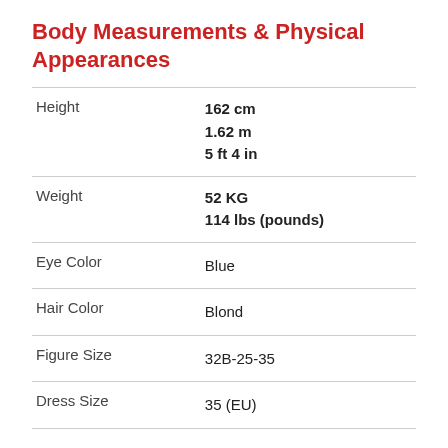Body Measurements & Physical Appearances
|  |  |
| --- | --- |
| Height | 162 cm
1.62 m
5 ft 4 in |
| Weight | 52 KG
114 lbs (pounds) |
| Eye Color | Blue |
| Hair Color | Blond |
| Figure Size | 32B-25-35 |
| Dress Size | 35 (EU) |